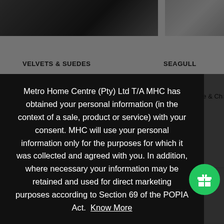[Figure (screenshot): Background showing product listing page with fabric swatches, partially obscured by a privacy consent modal overlay. Left side shows dark fabric swatch labeled 'VELVETS & SUEDES', right side shows light fabric labeled 'SEAGULL'.]
Metro Home Centre (Pty) Ltd T/A MHC has obtained your personal information (in the context of a sale, product or service) with your consent. MHC will use your personal information only for the purposes for which it was collected and agreed with you. In addition, where necessary your information may be retained and used for direct marketing purposes according to Section 69 of the POPIA Act.  Know More
Got it!